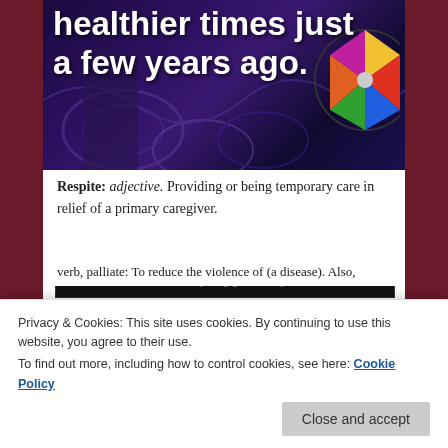[Figure (photo): Dark purple/indigo themed background photo with overlaid white bold text reading 'healthier times just a few years ago.' A figure and a colorful wheel/decoration are visible.]
Respite: adjective. Providing or being temporary care in relief of a primary caregiver.
[Figure (other): Advertisement banner with dark background showing text 'Read anything great lately?']
REPORT THIS AD
Privacy & Cookies: This site uses cookies. By continuing to use this website, you agree to their use.
To find out more, including how to control cookies, see here: Cookie Policy
Close and accept
verb, palliate: To reduce the violence of (a disease). Also,